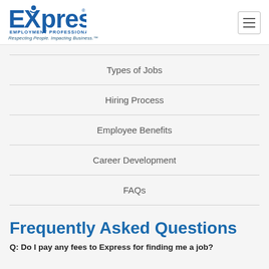[Figure (logo): Express Employment Professionals logo with tagline 'Respecting People. Impacting Business.']
Types of Jobs
Hiring Process
Employee Benefits
Career Development
FAQs
Frequently Asked Questions
Q: Do I pay any fees to Express for finding me a job?